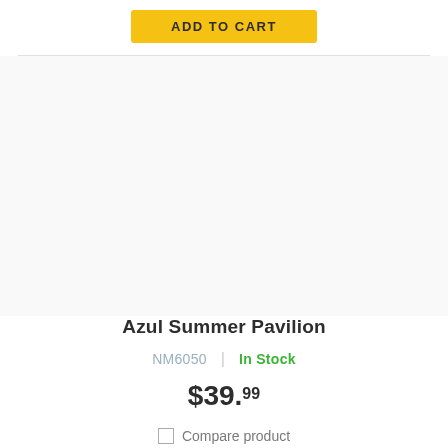ADD TO CART
[Figure (other): Product image area for Azul Summer Pavilion]
Azul Summer Pavilion
NM6050  |  In Stock
$39.99
Compare product
ADD TO CART